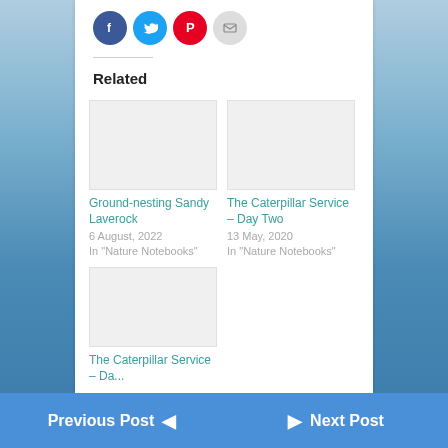[Figure (other): Social media share buttons: Facebook (blue circle), Twitter (blue circle), Pinterest (red circle), Email (grey circle)]
Related
[Figure (photo): Thumbnail image placeholder for Ground-nesting Sandy Laverock]
Ground-nesting Sandy Laverock
6 August, 2022
In "Nature Notebooks"
[Figure (photo): Thumbnail image placeholder for The Caterpillar Service – Day Two]
The Caterpillar Service – Day Two
13 May, 2020
In "Nature Notebooks"
[Figure (photo): Thumbnail image placeholder for The Caterpillar Service – Day...]
The Caterpillar Service – Da...
Previous Post    Next Post